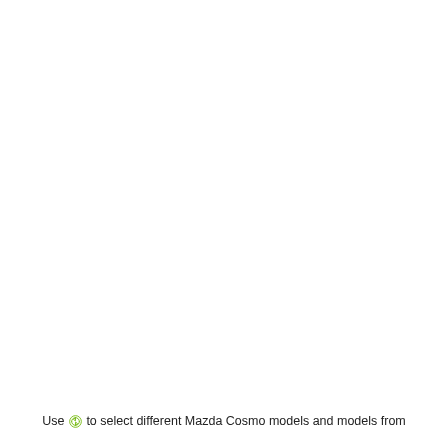Use ⊕ to select different Mazda Cosmo models and models from